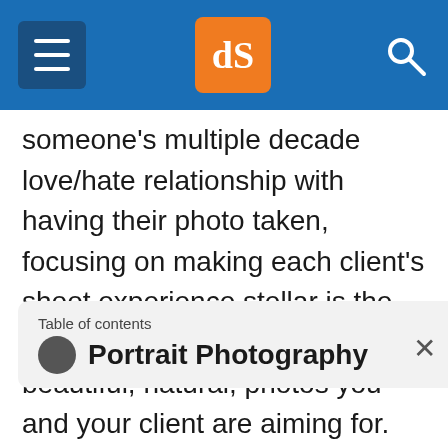dPS (Digital Photography School) navigation header
someone's multiple decade love/hate relationship with having their photo taken, focusing on making each client's shoot experience stellar is the first step on the road to the beautiful, natural, photos you and your client are aiming for. Because if you aren't having fun, why bother?
Table of contents
Portrait Photography